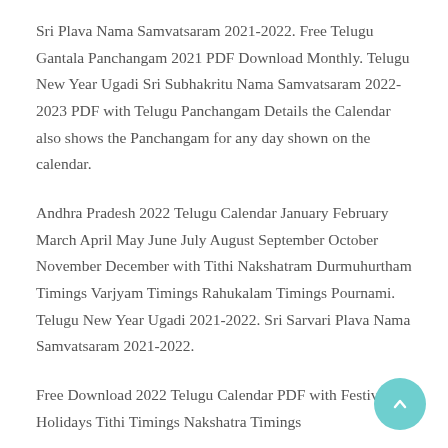Sri Plava Nama Samvatsaram 2021-2022. Free Telugu Gantala Panchangam 2021 PDF Download Monthly. Telugu New Year Ugadi Sri Subhakritu Nama Samvatsaram 2022-2023 PDF with Telugu Panchangam Details the Calendar also shows the Panchangam for any day shown on the calendar.
Andhra Pradesh 2022 Telugu Calendar January February March April May June July August September October November December with Tithi Nakshatram Durmuhurtham Timings Varjyam Timings Rahukalam Timings Pournami. Telugu New Year Ugadi 2021-2022. Sri Sarvari Plava Nama Samvatsaram 2021-2022.
Free Download 2022 Telugu Calendar PDF with Festivals Holidays Tithi Timings Nakshatra Timings